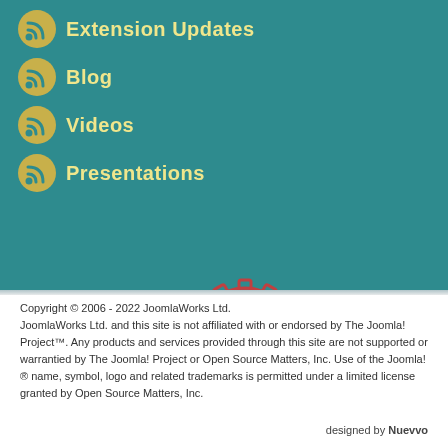Extension Updates
Blog
Videos
Presentations
[Figure (illustration): Three decorative gears illustration: large golden/orange gear on the left, small red outlined gear in the middle-left, medium olive/green gear in the center-bottom, and large dark purple gear on the right, all on a teal background]
Copyright © 2006 - 2022 JoomlaWorks Ltd. JoomlaWorks Ltd. and this site is not affiliated with or endorsed by The Joomla! Project™. Any products and services provided through this site are not supported or warrantied by The Joomla! Project or Open Source Matters, Inc. Use of the Joomla!® name, symbol, logo and related trademarks is permitted under a limited license granted by Open Source Matters, Inc. designed by Nuevvo